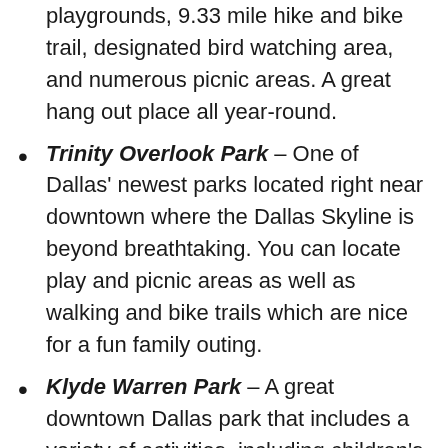playgrounds, 9.33 mile hike and bike trail, designated bird watching area, and numerous picnic areas. A great hang out place all year-round.
Trinity Overlook Park – One of Dallas' newest parks located right near downtown where the Dallas Skyline is beyond breathtaking. You can locate play and picnic areas as well as walking and bike trails which are nice for a fun family outing.
Klyde Warren Park – A great downtown Dallas park that includes a variety of activities, including children's playground, water play area, a fitness area, and food truck stations. You can also find scheduled events, such as movie night and concerts that are family friendly